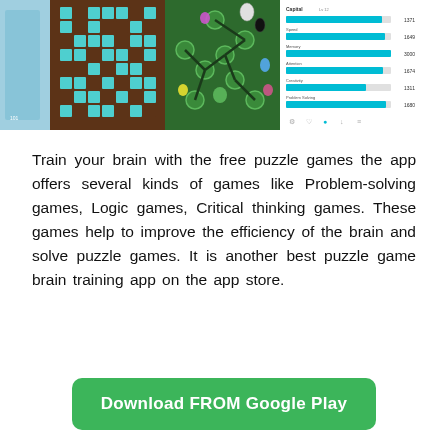[Figure (screenshot): Three app screenshots showing a puzzle grid game, a path/map game on green background, and a stats screen with horizontal bars showing scores like 1371, 1649, 3000, 1674, 1311, 1680]
Train your brain with the free puzzle games the app offers several kinds of games like Problem-solving games, Logic games, Critical thinking games. These games help to improve the efficiency of the brain and solve puzzle games. It is another best puzzle game brain training app on the app store.
Download FROM Google Play